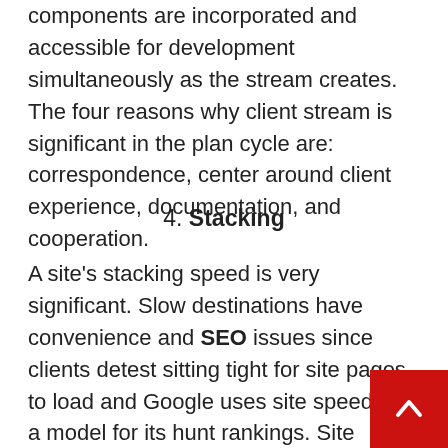components are incorporated and accessible for development simultaneously as the stream creates. The four reasons why client stream is significant in the plan cycle are: correspondence, center around client experience, documentation, and cooperation.
4. Stacking
A site's stacking speed is very significant. Slow destinations have convenience and SEO issues since clients detest sitting tight for site pages to load and Google uses site speed as a model for its hunt rankings. Site speed must be the main concern on the off chance that we need to